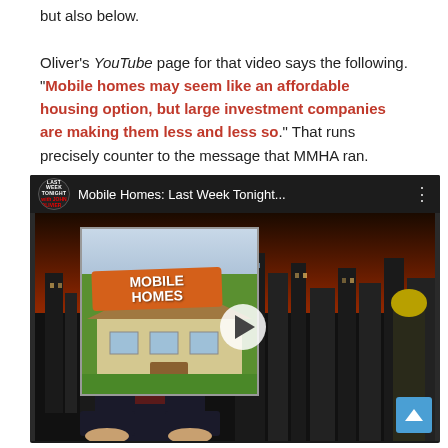but also below. Oliver's YouTube page for that video says the following. "Mobile homes may seem like an affordable housing option, but large investment companies are making them less and less so." That runs precisely counter to the message that MMHA ran.
[Figure (screenshot): Screenshot of a YouTube video embed titled 'Mobile Homes: Last Week Tonight...' showing a thumbnail of a mobile home with an orange sign reading 'MOBILE HOMES' and a host (John Oliver) seated at a desk with a city skyline background. A play button is visible in the center.]